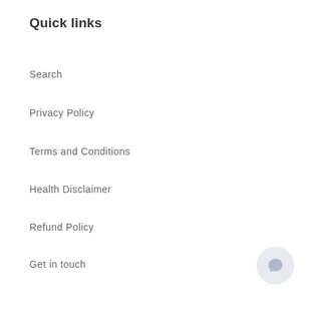Quick links
Search
Privacy Policy
Terms and Conditions
Health Disclaimer
Refund Policy
Get in touch
Terms of service
Shipping Policy
Join the Tribe